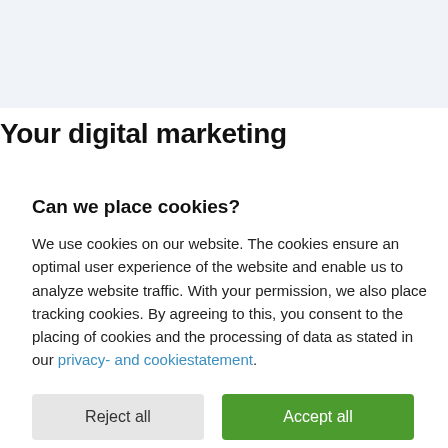Your digital marketing
Can we place cookies?
We use cookies on our website. The cookies ensure an optimal user experience of the website and enable us to analyze website traffic. With your permission, we also place tracking cookies. By agreeing to this, you consent to the placing of cookies and the processing of data as stated in our privacy- and cookiestatement.